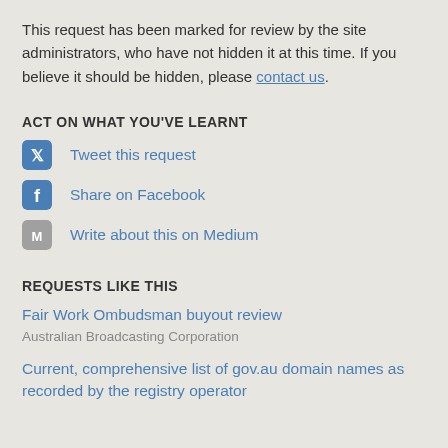This request has been marked for review by the site administrators, who have not hidden it at this time. If you believe it should be hidden, please contact us.
ACT ON WHAT YOU'VE LEARNT
Tweet this request
Share on Facebook
Write about this on Medium
REQUESTS LIKE THIS
Fair Work Ombudsman buyout review
Australian Broadcasting Corporation
Current, comprehensive list of gov.au domain names as recorded by the registry operator